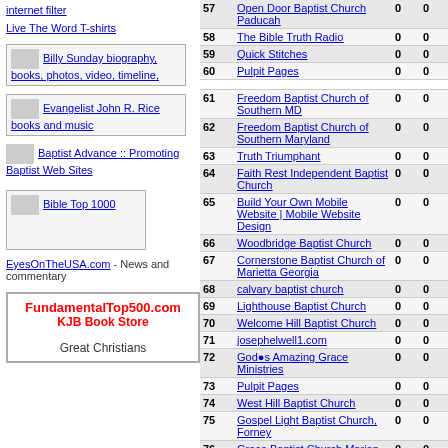internet filter
Live The Word T-shirts
[Figure (other): Ad box: Billy Sunday biography, books, photos, video, timeline,]
[Figure (other): Ad box: Evangelist John R. Rice books and music]
Baptist Advance :: Promoting Baptist Web Sites
[Figure (other): Ad box: Bible Top 1000]
EyesOnTheUSA.com - News and commentary
[Figure (other): Ad box: FundamentalTop500.com KJB Book Store Great Christians]
| # | Site | 0 | 0 |
| --- | --- | --- | --- |
| 57 | Open Door Baptist Church Paducah | 0 | 0 |
| 58 | The Bible Truth Radio | 0 | 0 |
| 59 | Quick Stitches | 0 | 0 |
| 60 | Pulpit Pages | 0 | 0 |
|  |  |  |  |
| 61 | Freedom Baptist Church of Southern MD | 0 | 0 |
| 62 | Freedom Baptist Church of Southern Maryland | 0 | 0 |
| 63 | Truth Triumphant | 0 | 0 |
| 64 | Faith Rest Independent Baptist Church | 0 | 0 |
| 65 | Build Your Own Mobile Website | Mobile Website Design | 0 | 0 |
| 66 | Woodbridge Baptist Church | 0 | 0 |
| 67 | Cornerstone Baptist Church of Marietta Georgia | 0 | 0 |
| 68 | calvary baptist church | 0 | 0 |
| 69 | Lighthouse Baptist Church | 0 | 0 |
| 70 | Welcome Hill Baptist Church | 0 | 0 |
| 71 | josephelwell1.com | 0 | 0 |
| 72 | God's Amazing Grace Ministries | 0 | 0 |
| 73 | Pulpit Pages | 0 | 0 |
| 74 | West Hill Baptist Church | 0 | 0 |
| 75 | Gospel Light Baptist Church, Forney | 0 | 0 |
| 76 | Grace Baptist Church Marion, IA | 0 | 0 |
| 77 | Olive Tree Web Hosting... | 0 | 0 |